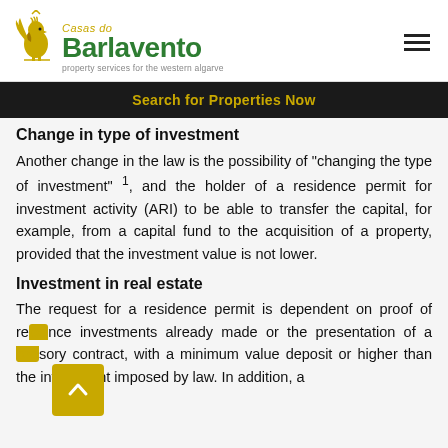[Figure (logo): Casas do Barlavento logo with rooster icon, green bold text, gold italic 'Casas do', tagline 'property services for the western algarve']
Search for Properties Now
Change in type of investment
Another change in the law is the possibility of "changing the type of investment" 1, and the holder of a residence permit for investment activity (ARI) to be able to transfer the capital, for example, from a capital fund to the acquisition of a property, provided that the investment value is not lower.
Investment in real estate
The request for a residence permit is dependent on proof of reference investments already made or the presentation of a promissory contract, with a minimum value deposit or higher than the investment imposed by law. In addition, a